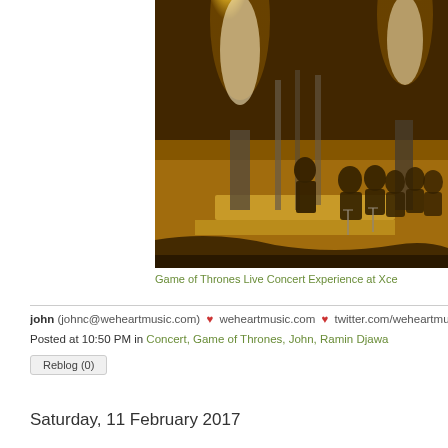[Figure (photo): Concert stage photo showing an orchestra performing with bright yellow/golden pyrotechnic flames in the background, musicians visible on stage at the Game of Thrones Live Concert Experience at Xcel Energy Center]
Game of Thrones Live Concert Experience at Xce
john (johnc@weheartmusic.com) ♥ weheartmusic.com ♥ twitter.com/weheartmusic
Posted at 10:50 PM in Concert, Game of Thrones, John, Ramin Djawa
Reblog (0)
Saturday, 11 February 2017